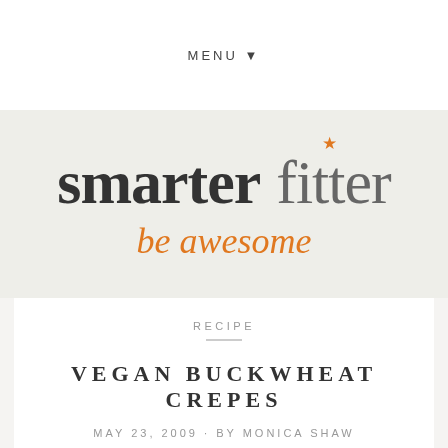MENU ▼
[Figure (logo): Smarter Fitter logo with tagline 'be awesome'. 'smarter' in dark bold serif, 'fitter' in lighter gray serif with an orange star above the 'i', and 'be awesome' in orange italic serif below.]
RECIPE
VEGAN BUCKWHEAT CREPES
MAY 23, 2009 · BY MONICA SHAW